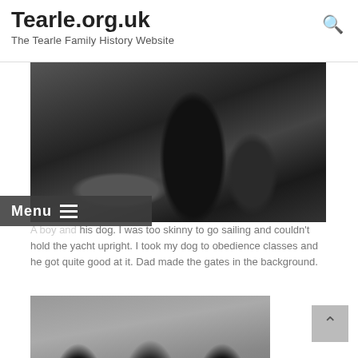Tearle.org.uk
The Tearle Family History Website
[Figure (photo): Black and white photograph of a boy and his dog outdoors, with gates visible in the background]
Menu
A boy and his dog. I was too skinny to go sailing and couldn't hold the yacht upright. I took my dog to obedience classes and he got quite good at it. Dad made the gates in the background.
[Figure (photo): Black and white photograph of three people (two men and a woman with glasses) at a formal event or gathering]